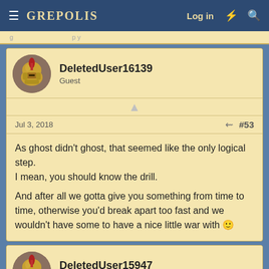GREPOLIS — Log in
DeletedUser16139
Guest
Jul 3, 2018 #53
As ghost didn't ghost, that seemed like the only logical step.
I mean, you should know the drill.

And after all we gotta give you something from time to time, otherwise you'd break apart too fast and we wouldn't have some to have a nice little war with 🙂
DeletedUser15947
Guest
Jul 3, 2018 #54